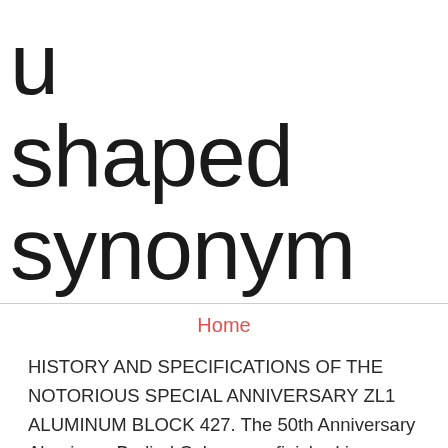u shaped synonym
Home
HISTORY AND SPECIFICATIONS OF THE NOTORIOUS SPECIAL ANNIVERSARY ZL1 ALUMINUM BLOCK 427. The 50th Anniversary Aluminum-Bodied Cobras are finished in Polished Bodies with Brushed Le Mans Twin Stripes. [ZL1-equipped Camaros were able to run 10.20s with slicks, long-tube headers, a high-rise Weiand